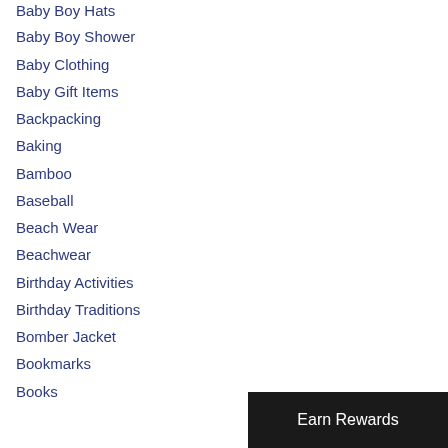Baby Boy Hats
Baby Boy Shower
Baby Clothing
Baby Gift Items
Backpacking
Baking
Bamboo
Baseball
Beach Wear
Beachwear
Birthday Activities
Birthday Traditions
Bomber Jacket
Bookmarks
Books
Earn Rewards